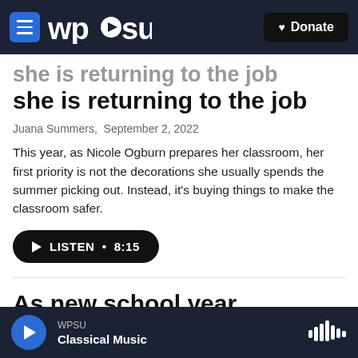WPSU | Donate
she is returning to the job
Juana Summers, September 2, 2022
This year, as Nicole Ogburn prepares her classroom, her first priority is not the decorations she usually spends the summer picking out. Instead, it's buying things to make the classroom safer.
[Figure (other): Listen button: play icon, LISTEN • 8:15]
As new school year approaches, some Uvalde
WPSU Classical Music